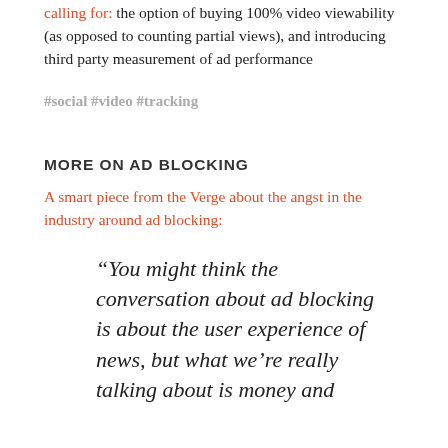calling for: the option of buying 100% video viewability (as opposed to counting partial views), and introducing third party measurement of ad performance
#social #video #tracking
MORE ON AD BLOCKING
A smart piece from the Verge about the angst in the industry around ad blocking:
“You might think the conversation about ad blocking is about the user experience of news, but what we’re really talking about is money and